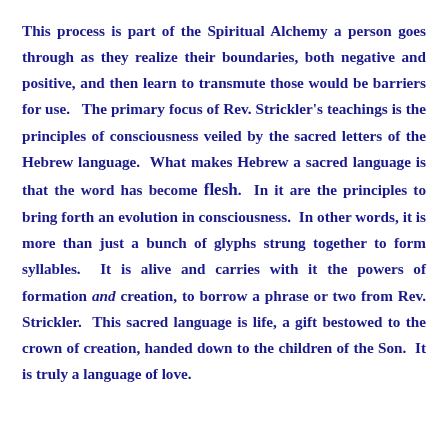This process is part of the Spiritual Alchemy a person goes through as they realize their boundaries, both negative and positive, and then learn to transmute those would be barriers for use.  The primary focus of Rev. Strickler's teachings is the principles of consciousness veiled by the sacred letters of the Hebrew language.  What makes Hebrew a sacred language is that the word has become flesh.  In it are the principles to bring forth an evolution in consciousness.  In other words, it is more than just a bunch of glyphs strung together to form syllables.  It is alive and carries with it the powers of formation and creation, to borrow a phrase or two from Rev. Strickler.  This sacred language is life, a gift bestowed to the crown of creation, handed down to the children of the Son.  It is truly a language of love.